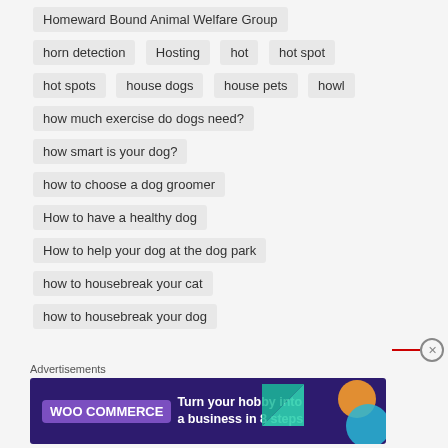Homeward Bound Animal Welfare Group
horn detection
Hosting
hot
hot spot
hot spots
house dogs
house pets
howl
how much exercise do dogs need?
how smart is your dog?
how to choose a dog groomer
How to have a healthy dog
How to help your dog at the dog park
how to housebreak your cat
how to housebreak your dog
Advertisements
[Figure (screenshot): WooCommerce advertisement banner: 'Turn your hobby into a business in 8 steps']